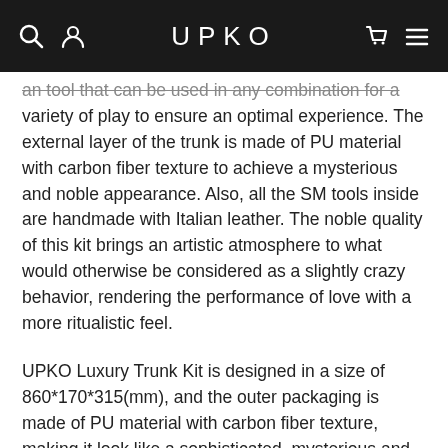UPKO
an tool that can be used in any combination for a variety of play to ensure an optimal experience. The external layer of the trunk is made of PU material with carbon fiber texture to achieve a mysterious and noble appearance. Also, all the SM tools inside are handmade with Italian leather. The noble quality of this kit brings an artistic atmosphere to what would otherwise be considered as a slightly crazy behavior, rendering the performance of love with a more ritualistic feel.
UPKO Luxury Trunk Kit is designed in a size of 860*170*315(mm), and the outer packaging is made of PU material with carbon fiber texture, making it look like a sophisticated, mysterious and noble piece of furniture. The lining of the trunk is made of high-quality velvet with spotted fasteners to better protect the safety of the